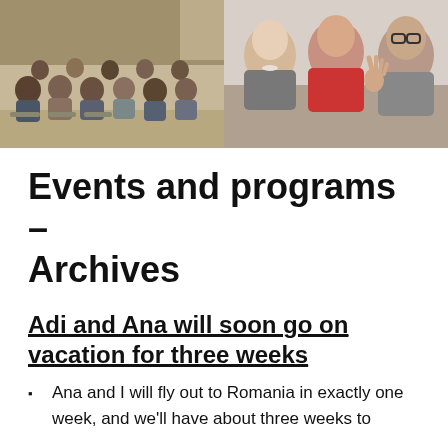[Figure (photo): Two photos side by side: left shows a group of people seated in a meeting room/event; right shows three smiling men posing for a selfie, one waving.]
Events and programs – Archives
Adi and Ana will soon go on vacation for three weeks
Ana and I will fly out to Romania in exactly one week, and we'll have about three weeks to